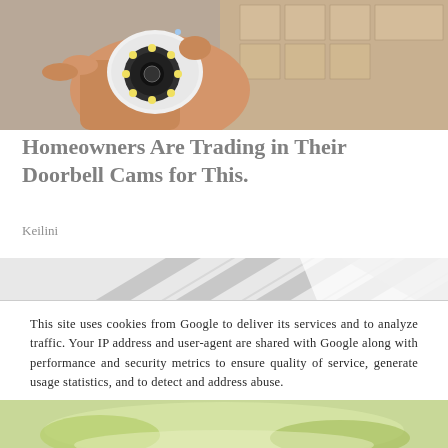[Figure (photo): Hand holding a small white security camera with circular LED ring around the lens, cardboard boxes visible in background]
Homeowners Are Trading in Their Doorbell Cams for This.
Keilini
[Figure (photo): Close-up of white window blinds or shutters at an angle]
This site uses cookies from Google to deliver its services and to analyze traffic. Your IP address and user-agent are shared with Google along with performance and security metrics to ensure quality of service, generate usage statistics, and to detect and address abuse.
LEARN MORE
OK
[Figure (photo): Partial view of food dish at bottom of page]